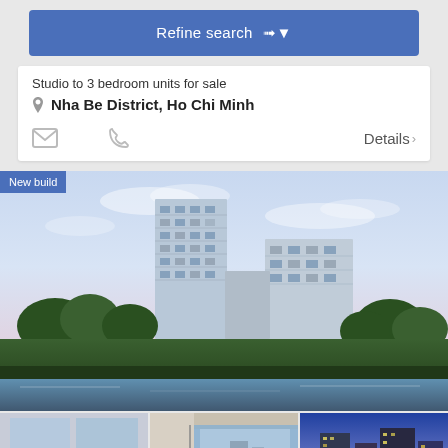Refine search ▾
Studio to 3 bedroom units for sale
Nha Be District, Ho Chi Minh
Details ›
[Figure (photo): Aerial/ground-level view of modern high-rise residential towers with green trees and water in foreground, dusk sky, labeled 'New build']
[Figure (photo): Interior living room with water view]
[Figure (photo): Interior room with floor-to-ceiling glass windows overlooking water]
[Figure (photo): Exterior building view at dusk/night]
6